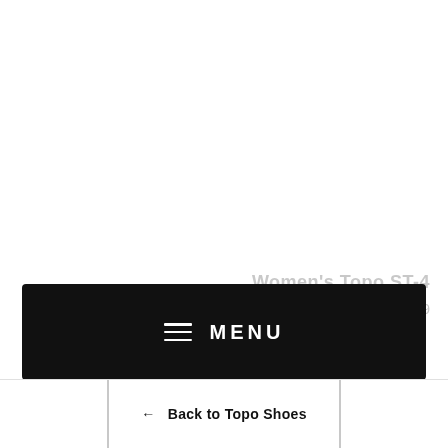Women's Topo ST-4
$159.99
MENU
← Back to Topo Shoes